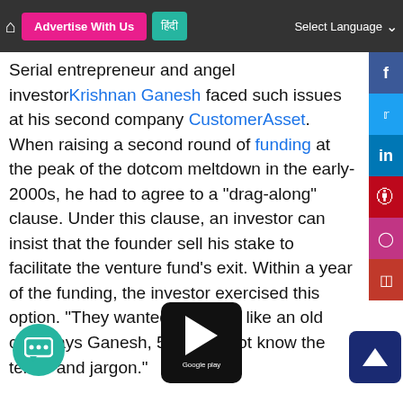Home | Advertise With Us | [Hindi] | Select Language
Serial entrepreneur and angel investor Krishnan Ganesh faced such issues at his second company CustomerAsset. When raising a second round of funding at the peak of the dotcom meltdown in the early-2000s, he had to agree to a "drag-along" clause. Under this clause, an investor can insist that the founder sell his stake to facilitate the venture fund's exit. Within a year of the funding, the investor exercised this option. "They wanted to sell us like an old car," says Ganesh, 51. "I did not know the terms and jargon."
EXPERT BACKING
Getting a mentor or a lawyer who will guide the founder through the minutiae of agreement negotiations is important. Dhingra, who has launched